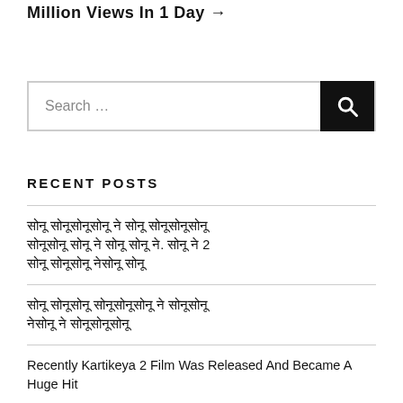Million Views In 1 Day →
[Figure (other): Search bar with text 'Search …' and a black search button with magnifying glass icon]
RECENT POSTS
[Hindi text - post title 1]
[Hindi text - post title 2]
Recently Kartikeya 2 Film Was Released And Became A Huge Hit